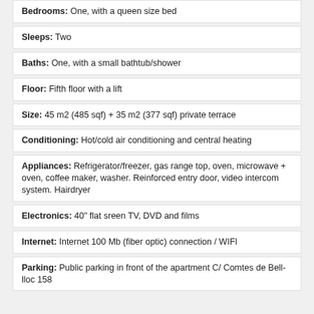Bedrooms: One, with a queen size bed
Sleeps: Two
Baths: One, with a small bathtub/shower
Floor: Fifth floor with a lift
Size: 45 m2 (485 sqf) + 35 m2 (377 sqf) private terrace
Conditioning: Hot/cold air conditioning and central heating
Appliances: Refrigerator/freezer, gas range top, oven, microwave + oven, coffee maker, washer. Reinforced entry door, video intercom system. Hairdryer
Electronics: 40" flat sreen TV, DVD and films
Internet: Internet 100 Mb (fiber optic) connection / WIFI
Parking: Public parking in front of the apartment C/ Comtes de Bell-lloc 158